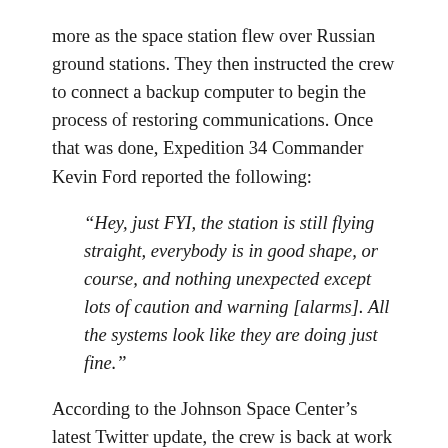more as the space station flew over Russian ground stations. They then instructed the crew to connect a backup computer to begin the process of restoring communications. Once that was done, Expedition 34 Commander Kevin Ford reported the following:
“Hey, just FYI, the station is still flying straight, everybody is in good shape, or course, and nothing unexpected except lots of caution and warning [alarms]. All the systems look like they are doing just fine.”
According to the Johnson Space Center’s latest Twitter update, the crew is back at work and the crew is taking questions from fans. Click here to see what the crew had to say about the temporary communications blackout and what’s in store for